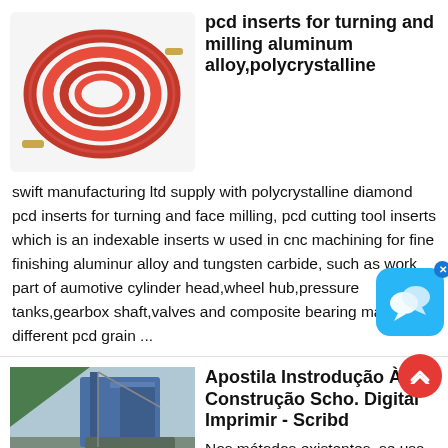[Figure (photo): Red coiled air hose with brass fittings]
pcd inserts for turning and milling aluminum alloy,polycrystalline
swift manufacturing ltd supply with polycrystalline diamond pcd inserts for turning and face milling, pcd cutting tool inserts which is an indexable inserts widely used in cnc machining for fine finishing aluminum alloy and tungsten carbide, such as work part of aumotive cylinder head,wheel hub,pressure tanks,gearbox shaft,valves and composite bearing materials, different pcd grain ...
[Figure (photo): Construction crane and excavation site]
Apostila Instrodução À Construção Scho. Digital Imprimir - Scribd
Nos métodos existentes, se usa basicamente